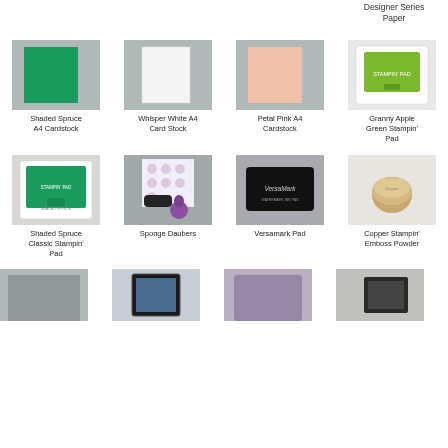Designer Series Paper
[Figure (photo): Shaded Spruce A4 Cardstock - green cardstock sheet on grey background]
Shaded Spruce A4 Cardstock
[Figure (photo): Whisper White A4 Card Stock - white cardstock sheet on grey background]
Whisper White A4 Card Stock
[Figure (photo): Petal Pink A4 Cardstock - pink cardstock sheet on grey background]
Petal Pink A4 Cardstock
[Figure (photo): Granny Apple Green Stampin' Pad - green ink pad on white background]
Granny Apple Green Stampin' Pad
[Figure (photo): Shaded Spruce Classic Stampin' Pad - green ink pad]
Shaded Spruce Classic Stampin' Pad
[Figure (photo): Sponge Daubers - black roller and purple dauber on dotted paper on grey background]
Sponge Daubers
[Figure (photo): Versamark Pad - black ink pad]
Versamark Pad
[Figure (photo): Copper Stampin' Emboss Powder - small copper powder container]
Copper Stampin' Emboss Powder
[Figure (photo): Partial view of grey cardstock product]
[Figure (photo): Partial view of stamp tool product]
[Figure (photo): Partial view of purple/grey product]
[Figure (photo): Partial view of black tool product]